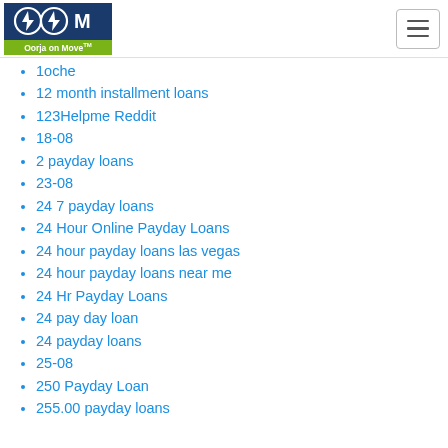Oorja on Move
1oche
12 month installment loans
123Helpme Reddit
18-08
2 payday loans
23-08
24 7 payday loans
24 Hour Online Payday Loans
24 hour payday loans las vegas
24 hour payday loans near me
24 Hr Payday Loans
24 pay day loan
24 payday loans
25-08
250 Payday Loan
255.00 payday loans